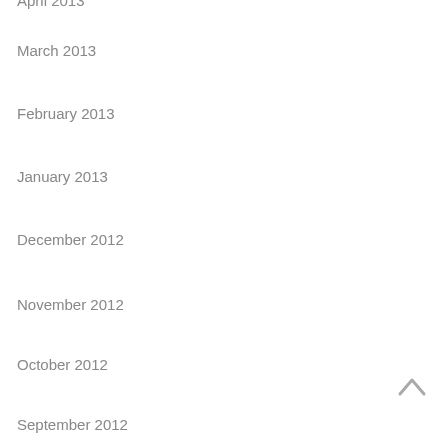April 2013
March 2013
February 2013
January 2013
December 2012
November 2012
October 2012
September 2012
March 2012
CATEGORIES
abstract